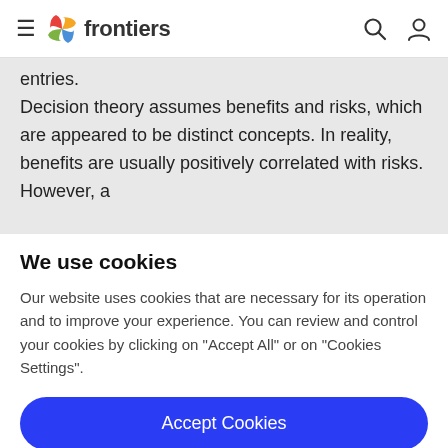≡ frontiers
entries.
Decision theory assumes benefits and risks, which are appeared to be distinct concepts. In reality, benefits are usually positively correlated with risks. However, a
We use cookies
Our website uses cookies that are necessary for its operation and to improve your experience. You can review and control your cookies by clicking on "Accept All" or on "Cookies Settings".
Accept Cookies
Cookies Settings